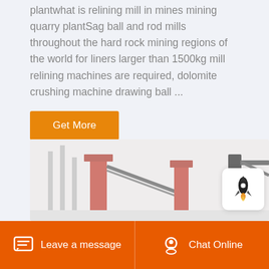plantwhat is relining mill in mines mining quarry plantSag ball and rod mills throughout the hard rock mining regions of the world for liners larger than 1500kg mill relining machines are required, dolomite crushing machine drawing ball ...
[Figure (other): Orange 'Get More' button]
[Figure (photo): Industrial mining/crushing machinery equipment photo, showing large red industrial conveyor/crusher structures against a pale sky]
[Figure (other): Rocket icon widget floating on the right side]
Leave a message   Chat Online